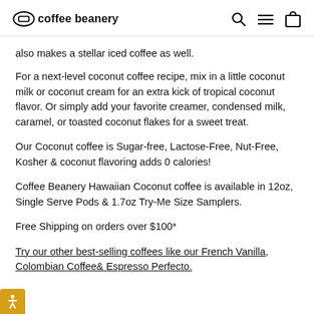coffee beanery
also makes a stellar iced coffee as well.
For a next-level coconut coffee recipe, mix in a little coconut milk or coconut cream for an extra kick of tropical coconut flavor. Or simply add your favorite creamer, condensed milk, caramel, or toasted coconut flakes for a sweet treat.
Our Coconut coffee is Sugar-free, Lactose-Free, Nut-Free, Kosher & coconut flavoring adds 0 calories!
Coffee Beanery Hawaiian Coconut coffee is available in 12oz, Single Serve Pods & 1.7oz Try-Me Size Samplers.
Free Shipping on orders over $100*
Try our other best-selling coffees like our French Vanilla, Colombian Coffee& Espresso Perfecto.